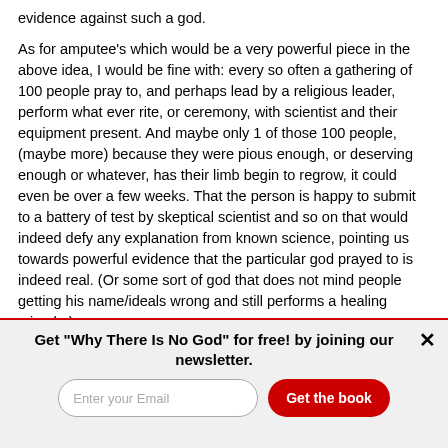evidence against such a god.
As for amputee's which would be a very powerful piece in the above idea, I would be fine with: every so often a gathering of 100 people pray to, and perhaps lead by a religious leader, perform what ever rite, or ceremony, with scientist and their equipment present. And maybe only 1 of those 100 people, (maybe more) because they were pious enough, or deserving enough or whatever, has their limb begin to regrow, it could even be over a few weeks. That the person is happy to submit to a battery of test by skeptical scientist and so on that would indeed defy any explanation from known science, pointing us towards powerful evidence that the particular god prayed to is indeed real. (Or some sort of god that does not mind people getting his name/ideals wrong and still performs a healing miracle.)
Get "Why There Is No God" for free! by joining our newsletter.
Enter your Email
Get the book